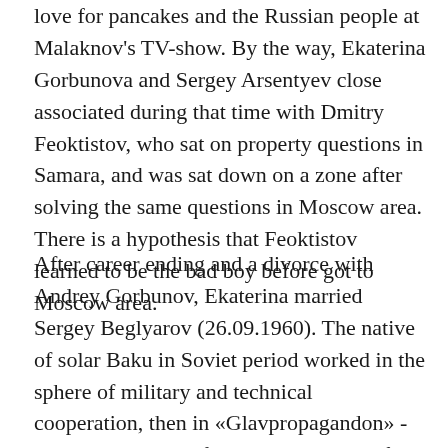love for pancakes and the Russian people at Malaknov's TV-show. By the way, Ekaterina Gorbunova and Sergey Arsentyev close associated during that time with Dmitry Feoktistov, who sat on property questions in Samara, and was sat down on a zone after solving the same questions in Moscow area. There is a hypothesis that Feoktistov learned to be the bad boy before got to Moscow area.
After career ending and a divorce with Andrey Gorbunov, Ekaterina married Sergey Beglyarov (26.09.1960). The native of solar Baku in Soviet period worked in the sphere of military and technical cooperation, then in «Glavpropagandon» - Head department of external relations of Gosteleradio of the USSR. Probability, that he at the time of foreign service to the «Sovok» was not Petrov and Boshirov's colleague — turns to zero. Further, he either replaced the